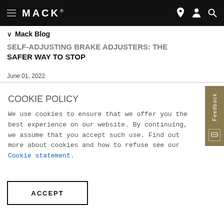MACK
Mack Blog
SELF-ADJUSTING BRAKE ADJUSTERS: THE SAFER WAY TO STOP
June 01, 2022
COOKIE POLICY
We use cookies to ensure that we offer you the best experience on our website. By continuing, we assume that you accept such use. Find out more about cookies and how to refuse see our Cookie statement.
ACCEPT